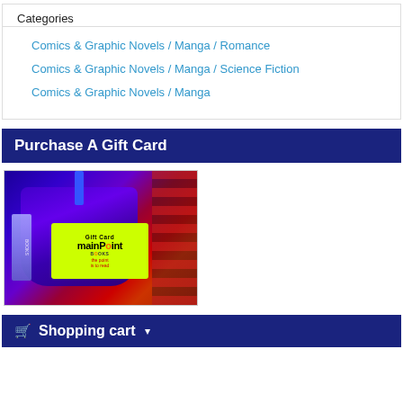Categories
Comics & Graphic Novels / Manga / Romance
Comics & Graphic Novels / Manga / Science Fiction
Comics & Graphic Novels / Manga
Purchase A Gift Card
[Figure (photo): Photo of a mainPoint Books gift card (yellow card with green tint, text 'Gift Card mainPoint Books') inside a blue organza drawstring gift bag, placed on a red plaid fabric background.]
Shopping cart